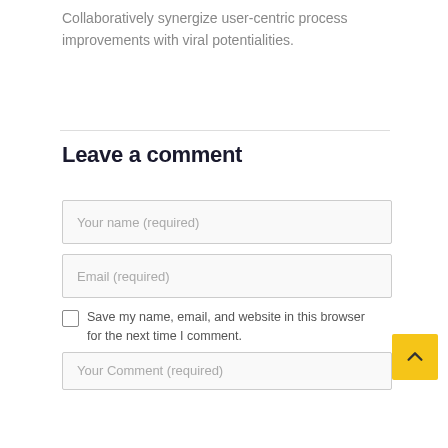Collaboratively synergize user-centric process improvements with viral potentialities.
Leave a comment
[Figure (screenshot): Web comment form with fields: Your name (required), Email (required), a checkbox to save name/email/website, and Your Comment (required) textarea. A yellow back-to-top button appears in the bottom-right corner.]